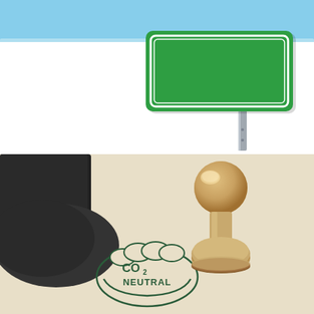[Figure (illustration): Top section showing a light blue sky background at the top, and a blank green road sign (American highway sign style) mounted on a metal post, positioned in the right half of the image, against a white background.]
[Figure (photo): A photo of a wooden rubber stamp next to a CO2 NEUTRAL stamp impression on textured cream/beige paper. The stamp impression shows a cloud-like oval shape with 'CO2 NEUTRAL' text inside it. A dark object (possibly a folder or book) is visible in the upper left corner.]